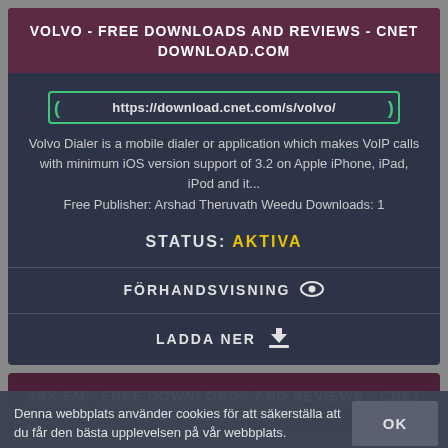VOLVO - FREE DOWNLOADS AND REVIEWS - CNET DOWNLOAD.COM
https://download.cnet.com/s/volvo/
Volvo Dialer is a mobile dialer or application which makes VoIP calls with minimum iOS version support of 3.2 on Apple iPhone, iPad, iPod and it... Free Publisher: Arshad Theruvath Weedu Downloads: 1
STATUS: AKTIVA
FÖRHANDSVISNING
LADDA NER
ASK.FM - FREE DOWNLOADS AND REVIEWS - CNET DOWNLOAD.COM
Denna webbplats använder cookies för att säkerställa att du får den bästa upplevelsen på vår webbplats.
OK